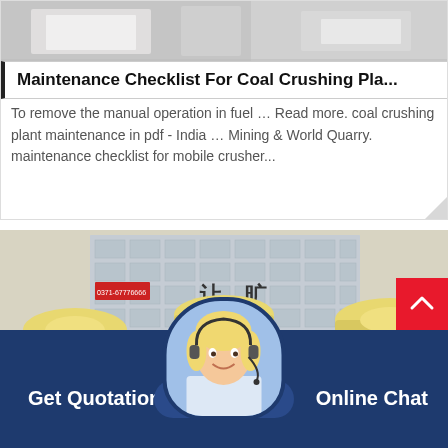[Figure (photo): Top portion of a card showing industrial/manufacturing equipment parts in grey tones]
Maintenance Checklist For Coal Crushing Pla...
To remove the manual operation in fuel … Read more. coal crushing plant maintenance in pdf - India … Mining & World Quarry. maintenance checklist for mobile crusher...
[Figure (photo): Industrial coal crushing plant machines (yellow conical crushers) with a building facade in the background and Chinese signage reading 0371-67776666]
Get Quotation
Online Chat